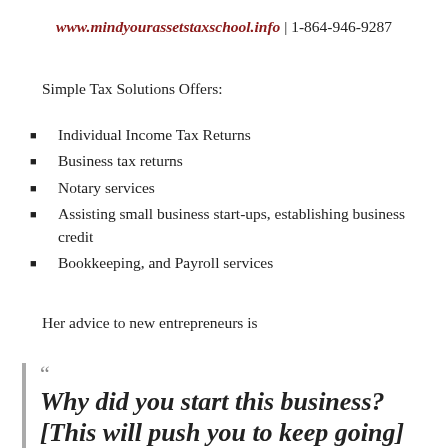www.mindyourassetstaxschool.info | 1-864-946-9287
Simple Tax Solutions Offers:
Individual Income Tax Returns
Business tax returns
Notary services
Assisting small business start-ups, establishing business credit
Bookkeeping, and Payroll services
Her advice to new entrepreneurs is
Why did you start this business? [This will push you to keep going]